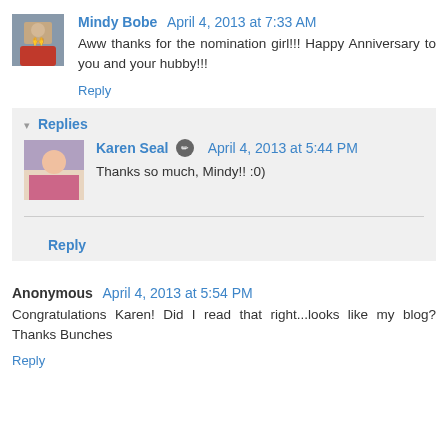[Figure (photo): Avatar photo of Mindy Bobe, small square thumbnail]
Mindy Bobe April 4, 2013 at 7:33 AM
Aww thanks for the nomination girl!!! Happy Anniversary to you and your hubby!!!
Reply
Replies
[Figure (photo): Avatar photo of Karen Seal, small square thumbnail]
Karen Seal April 4, 2013 at 5:44 PM
Thanks so much, Mindy!! :0)
Reply
Anonymous April 4, 2013 at 5:54 PM
Congratulations Karen! Did I read that right...looks like my blog? Thanks Bunches
Reply